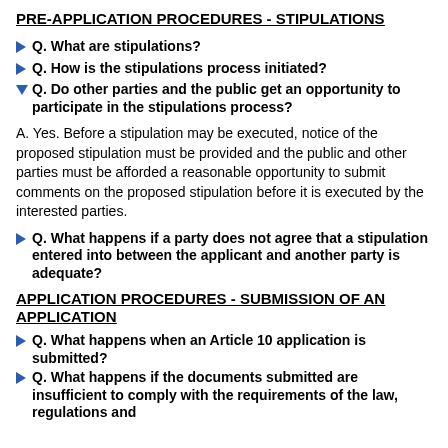PRE-APPLICATION PROCEDURES - STIPULATIONS
Q. What are stipulations?
Q. How is the stipulations process initiated?
Q. Do other parties and the public get an opportunity to participate in the stipulations process?
A. Yes. Before a stipulation may be executed, notice of the proposed stipulation must be provided and the public and other parties must be afforded a reasonable opportunity to submit comments on the proposed stipulation before it is executed by the interested parties.
Q. What happens if a party does not agree that a stipulation entered into between the applicant and another party is adequate?
APPLICATION PROCEDURES - SUBMISSION OF AN APPLICATION
Q. What happens when an Article 10 application is submitted?
Q. What happens if the documents submitted are insufficient to comply with the requirements of the law, regulations and